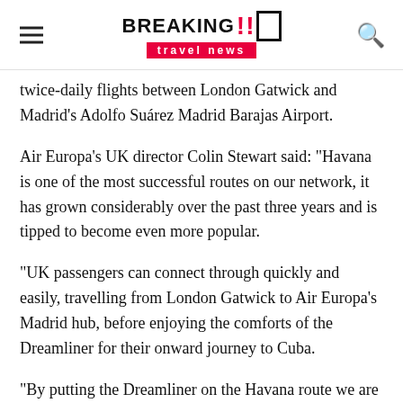BREAKING travel news
twice-daily flights between London Gatwick and Madrid’s Adolfo Suárez Madrid Barajas Airport.
Air Europa’s UK director Colin Stewart said: “Havana is one of the most successful routes on our network, it has grown considerably over the past three years and is tipped to become even more popular.
“UK passengers can connect through quickly and easily, travelling from London Gatwick to Air Europa’s Madrid hub, before enjoying the comforts of the Dreamliner for their onward journey to Cuba.
“By putting the Dreamliner on the Havana route we are emphasizing our commitment to Cuba – both for leisure and corporate travel.